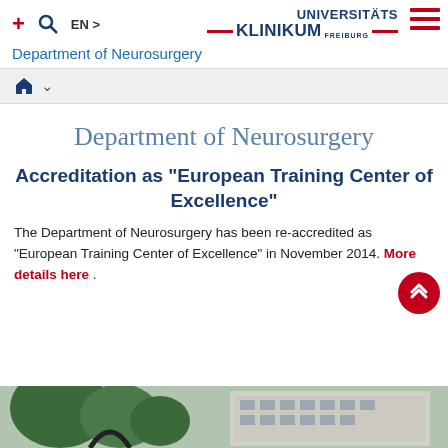+ 🔍 EN > | UNIVERSITÄTS KLINIKUM FREIBURG | Department of Neurosurgery
🏠 ∨
Department of Neurosurgery
Accreditation as "European Training Center of Excellence"
The Department of Neurosurgery has been re-accredited as "European Training Center of Excellence" in November 2014. More details here .
[Figure (photo): Exterior building photo showing trees and a multi-story hospital building, appears to be the university hospital campus.]